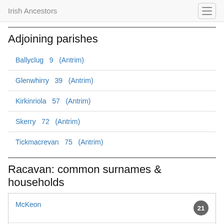Irish Ancestors
Adjoining parishes
| Parish | Number | County |
| --- | --- | --- |
| Ballyclug | 9 | (Antrim) |
| Glenwhirry | 39 | (Antrim) |
| Kirkinriola | 57 | (Antrim) |
| Skerry | 72 | (Antrim) |
| Tickmacrevan | 75 | (Antrim) |
Racavan: common surnames & households
| Surname | Count |
| --- | --- |
| McKeon | 21 |